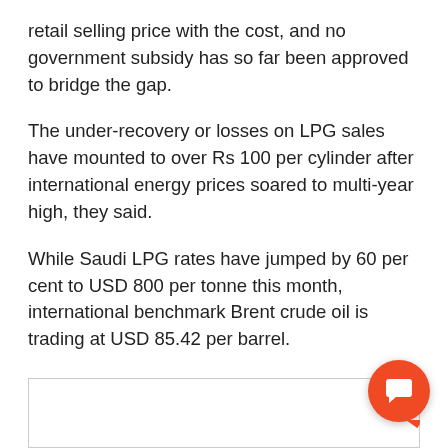retail selling price with the cost, and no government subsidy has so far been approved to bridge the gap.
The under-recovery or losses on LPG sales have mounted to over Rs 100 per cylinder after international energy prices soared to multi-year high, they said.
While Saudi LPG rates have jumped by 60 per cent to USD 800 per tonne this month, international benchmark Brent crude oil is trading at USD 85.42 per barrel.
[Figure (other): Empty content box with orange chat button overlay in bottom-right corner]